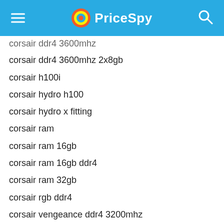PriceSpy
corsair ddr4 3600mhz 2x8gb
corsair h100i
corsair hydro h100
corsair hydro x fitting
corsair ram
corsair ram 16gb
corsair ram 16gb ddr4
corsair ram 32gb
corsair rgb ddr4
corsair vengeance ddr4 3200mhz
corsair vengeance ddr4 3600mhz
corsair vengeance lpx 32
corsair vengeance lpx ddr4
corsair vengeance pro 16gb
corsair vengeance ram 16gb
corsair vengeance rgb pro 16gb 3200mhz
cpu 'water cooling
cpu cooler fan
cpu fan
cpu i5